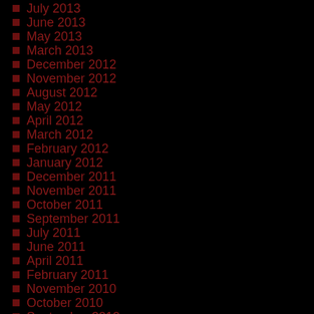July 2013
June 2013
May 2013
March 2013
December 2012
November 2012
August 2012
May 2012
April 2012
March 2012
February 2012
January 2012
December 2011
November 2011
October 2011
September 2011
July 2011
June 2011
April 2011
February 2011
November 2010
October 2010
September 2010